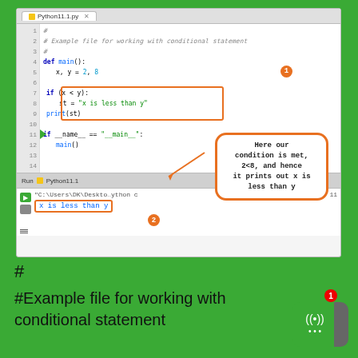[Figure (screenshot): PyCharm IDE screenshot showing Python11.1.py with code for conditional statement example. Code includes def main(), x/y assignment, if condition, print statement, and __main__ block. Orange box highlights lines 7-9. Orange callout explains condition is met (2<8) and prints 'x is less than y'. Console shows output 'x is less than y' with orange box. Numbered badges 1 and 2 mark key elements.]
#
#Example file for working with conditional statement